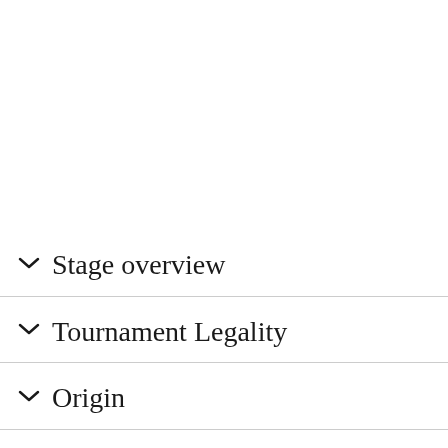Stage overview
Tournament Legality
Origin
Gall...